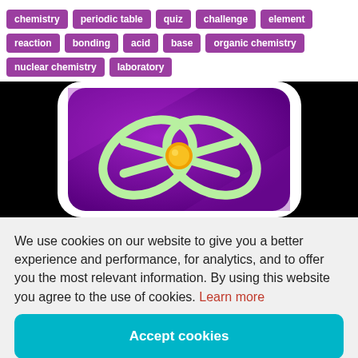chemistry
periodic table
quiz
challenge
element
reaction
bonding
acid
base
organic chemistry
nuclear chemistry
laboratory
[Figure (illustration): App icon on dark background showing a green infinity/atom loop symbol with a yellow/orange nucleus on a purple gradient background, with rounded white border.]
We use cookies on our website to give you a better experience and performance, for analytics, and to offer you the most relevant information. By using this website you agree to the use of cookies. Learn more
Accept cookies